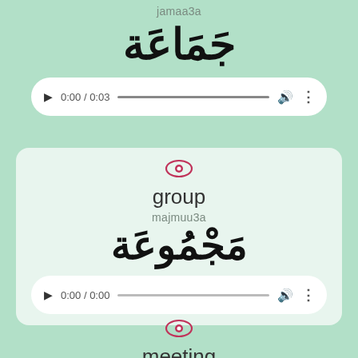jamaa3a
جَمَاعَة
[Figure (other): Audio player showing 0:00 / 0:03 with progress bar]
[Figure (other): Eye icon (visibility indicator)]
group
majmuu3a
مَجْمُوعَة
[Figure (other): Audio player showing 0:00 / 0:00 with progress bar]
[Figure (other): Eye icon (visibility indicator)]
meeting
ijtimaa3